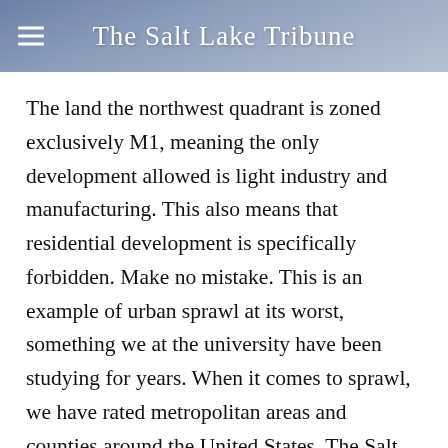The Salt Lake Tribune
The land the northwest quadrant is zoned exclusively M1, meaning the only development allowed is light industry and manufacturing. This also means that residential development is specifically forbidden. Make no mistake. This is an example of urban sprawl at its worst, something we at the university have been studying for years. When it comes to sprawl, we have rated metropolitan areas and counties around the United States. The Salt Lake Metropolitan Area and Salt Lake County are not the worst, but we are certainly not the best. We are a little over half way between San Francisco at the